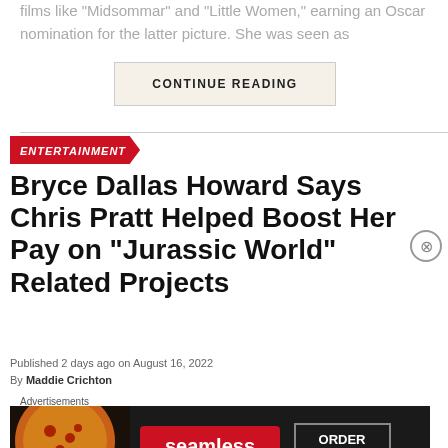films like “Midsommar” and “Little Women,” earning an Oscar nomination for the latter picture. She was seen as
CONTINUE READING
ENTERTAINMENT
Bryce Dallas Howard Says Chris Pratt Helped Boost Her Pay on “Jurassic World” Related Projects
Published 2 days ago on August 16, 2022
By Maddie Crichton
Advertisements
[Figure (photo): Seamless food delivery advertisement banner with pizza image, Seamless logo and ORDER NOW button]